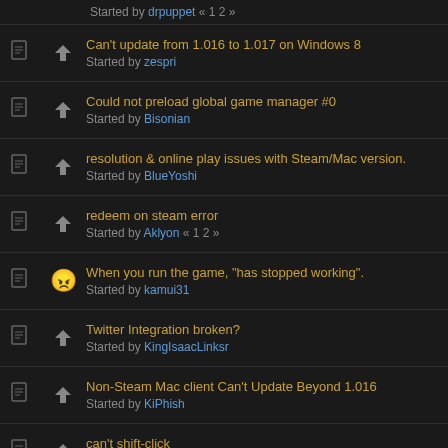Started by drpuppet « 1 2 »
Can't update from 1.016 to 1.017 on Windows 8 — Started by zespri
Could not preload global game manager #0 — Started by Bisonian
resolution & online play issues with Steam/Mac version. — Started by BlueYoshi
redeem on steam error — Started by Aklyon « 1 2 »
When you run the game, "has stopped working". — Started by kamui31
Twitter Integration broken? — Started by KingIsaacLinksr
Non-Steam Mac client Can't Update Beyond 1.016 — Started by KiPhish
can't shift-click — Started by gtotal
Steam Achievement issue when going from demo to full game — Started by Goteki45